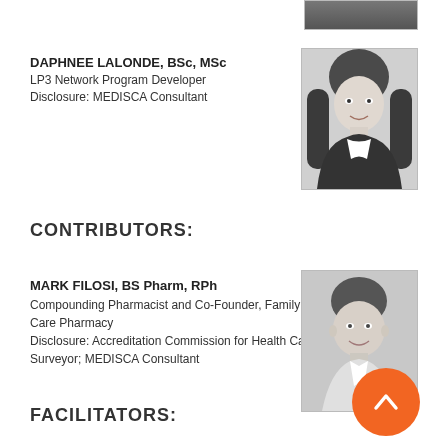[Figure (photo): Partial headshot photo at top right, cropped]
DAPHNEE LALONDE, BSc, MSc
LP3 Network Program Developer
Disclosure: MEDISCA Consultant
[Figure (photo): Black and white headshot of Daphnee Lalonde, woman with long dark hair, smiling, wearing dark blazer]
CONTRIBUTORS:
MARK FILOSI, BS Pharm, RPh
Compounding Pharmacist and Co-Founder, Family Care Pharmacy
Disclosure: Accreditation Commission for Health Care Surveyor; MEDISCA Consultant
[Figure (photo): Black and white headshot of Mark Filosi, young man with short hair smiling, wearing white shirt]
FACILITATORS: